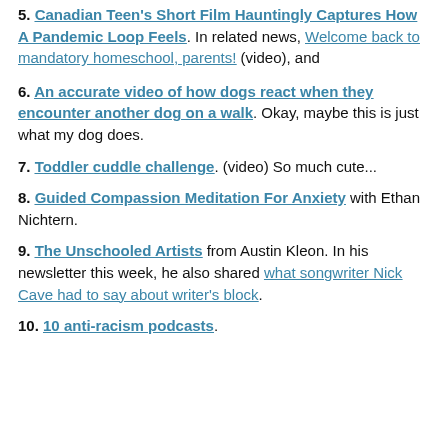5. Canadian Teen's Short Film Hauntingly Captures How A Pandemic Loop Feels. In related news, Welcome back to mandatory homeschool, parents! (video), and
6. An accurate video of how dogs react when they encounter another dog on a walk. Okay, maybe this is just what my dog does.
7. Toddler cuddle challenge. (video) So much cute...
8. Guided Compassion Meditation For Anxiety with Ethan Nichtern.
9. The Unschooled Artists from Austin Kleon. In his newsletter this week, he also shared what songwriter Nick Cave had to say about writer's block.
10. 10 anti-racism podcasts.